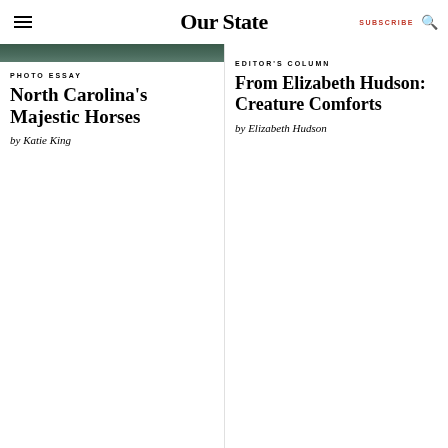Our State | SUBSCRIBE
[Figure (photo): Partial view of a dark-toned photo, likely of a horse outdoors]
PHOTO ESSAY
North Carolina's Majestic Horses
by Katie King
EDITOR'S COLUMN
From Elizabeth Hudson: Creature Comforts
by Elizabeth Hudson